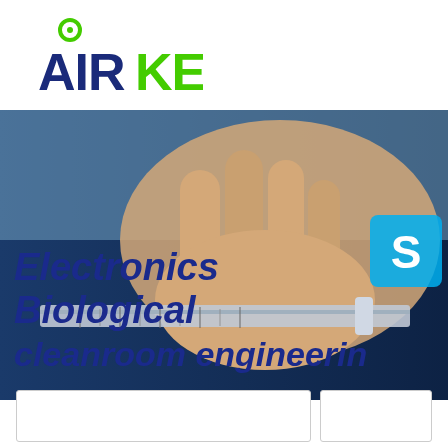[Figure (logo): AirKey logo with green circular icon above the word AIR in dark blue and KEY in green, bold sans-serif font]
[Figure (photo): Photo of a person's hand holding a caliper/measuring tool against a dark blue background with text overlaid: 'Electronics Biological cleanroom engineering' in bold dark blue italic font. A Skype icon is visible in the upper right area of the image.]
[Figure (other): Two white card/box placeholders at the bottom of the page, side by side with light gray borders]